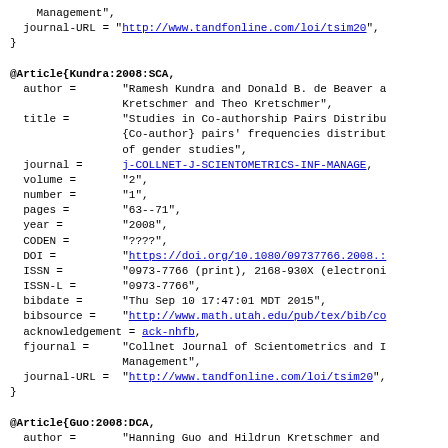Management",
  journal-URL = "http://www.tandfonline.com/loi/tsim20",
}
@Article{Kundra:2008:SCA,
  author =       "Ramesh Kundra and Donald B. de Beaver and Hildrun Kretschmer and Theo Kretschmer",
  title =        "Studies in Co-authorship Pairs Distribution: {Co-author} pairs' frequencies distribution in gender studies",
  journal =      j-COLLNET-J-SCIENTOMETRICS-INF-MANAGE,
  volume =       "2",
  number =       "1",
  pages =        "63--71",
  year =         "2008",
  CODEN =        "????",
  DOI =          "https://doi.org/10.1080/09737766.2008...",
  ISSN =         "0973-7766 (print), 2168-930X (electronic)",
  ISSN-L =       "0973-7766",
  bibdate =      "Thu Sep 10 17:47:01 MDT 2015",
  bibsource =    "http://www.math.utah.edu/pub/tex/bib/co...",
  acknowledgement = ack-nhfb,
  fjournal =     "Collnet Journal of Scientometrics and Information Management",
  journal-URL =  "http://www.tandfonline.com/loi/tsim20",
}
@Article{Guo:2008:DCA,
  author =       "Hanning Guo and Hildrun Kretschmer and ...",
  title =        "Distribution of Co-Author Pairs' Frequencies..."